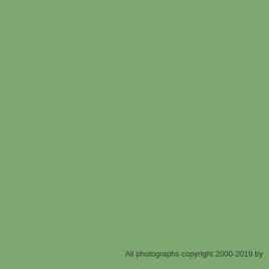[Figure (photo): Solid sage green background filling the entire page]
All photographs copyright 2000-2019 by